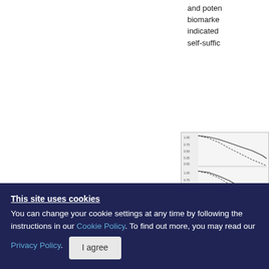and poten biomarke indicated self-suffic
[Figure (continuous-plot): Three Kaplan-Meier survival curves stacked vertically, showing survival probability over time for different patient groups. Each panel shows descending step curves with dotted and solid lines.]
[Figure (table-as-image): Partial view of a data table with multiple rows and columns, showing statistical results. Rows contain labels on the left and numeric values on the right.]
This site uses cookies
You can change your cookie settings at any time by following the instructions in our Cookie Policy. To find out more, you may read our Privacy Policy.
I agree